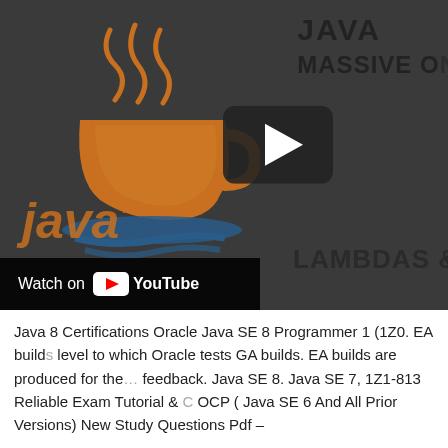[Figure (screenshot): YouTube video thumbnail showing the Java logo (coffee cup with steam) on a dark gray background. Top right shows partial text 'JAVA' and 'MASSIVE ON'. A play button (dark rounded rectangle with white triangle) is visible in the center-right. Bottom right shows partial text 'LAMBDAS &'. Bottom left has a 'Watch on YouTube' bar.]
Java 8 Certifications Oracle Java SE 8 Programmer 1 (1Z0. EA builds are to a level to which Oracle tests GA builds. EA builds are produced for the community feedback. Java SE 8. Java SE 7, 1Z1-813 Reliable Exam Tutorial & OCP ( Java SE 6 And All Prior Versions) New Study Questions Pdf –